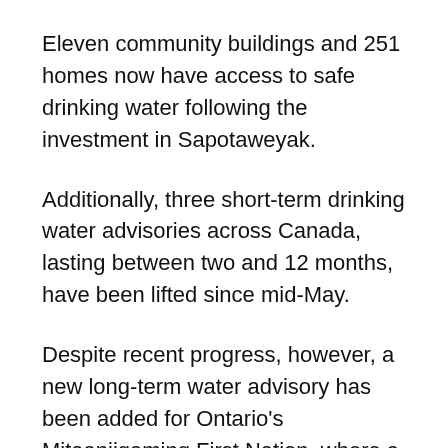Eleven community buildings and 251 homes now have access to safe drinking water following the investment in Sapotaweyak.
Additionally, three short-term drinking water advisories across Canada, lasting between two and 12 months, have been lifted since mid-May.
Despite recent progress, however, a new long-term water advisory has been added for Ontario's Mitaanjigaming First Nation, where a boil water advisory has been in place for more than a year. The advisory was recommended to support the shutdowns required to complete upgrades to the existing water distribution and treatment systems.